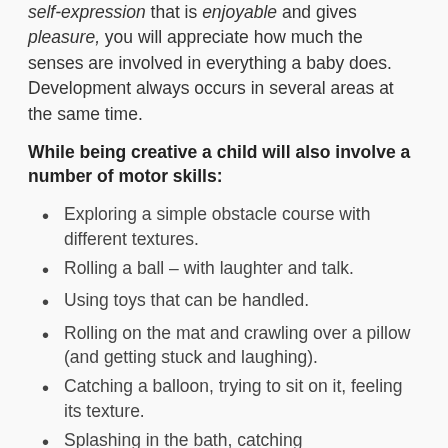self-expression that is enjoyable and gives pleasure, you will appreciate how much the senses are involved in everything a baby does. Development always occurs in several areas at the same time.
While being creative a child will also involve a number of motor skills:
Exploring a simple obstacle course with different textures.
Rolling a ball – with laughter and talk.
Using toys that can be handled.
Rolling on the mat and crawling over a pillow (and getting stuck and laughing).
Catching a balloon, trying to sit on it, feeling its texture.
Splashing in the bath, catching